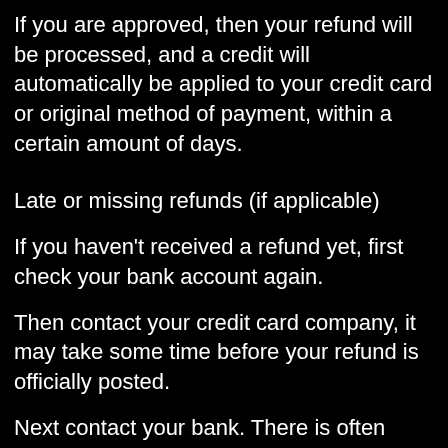If you are approved, then your refund will be processed, and a credit will automatically be applied to your credit card or original method of payment, within a certain amount of days.
Late or missing refunds (if applicable)
If you haven't received a refund yet, first check your bank account again.
Then contact your credit card company, it may take some time before your refund is officially posted.
Next contact your bank. There is often some processing time before a refund is posted.